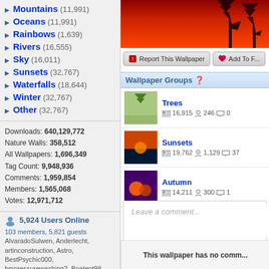Mountains (11,991)
Oceans (11,991)
Rainbows (1,639)
Rivers (16,555)
Sky (16,011)
Sunsets (32,767)
Waterfalls (18,644)
Winter (32,767)
Other (32,767)
Downloads: 640,129,772
Nature Walls: 358,512
All Wallpapers: 1,696,349
Tag Count: 9,948,936
Comments: 1,959,854
Members: 1,565,068
Votes: 12,971,712
5,924 Users Online
103 members, 5,821 guests
AlvaradoSulwen, Anderlecht, artinconstruction, Astro, BestPsychic000, bmpressurewashing2, Boatent98, boliou, brandbajade, bridgecounseling, brighterfinance, CarrollDentistry, cell-phone-hacking, chatonfragile, Cleaners567, ColbyRichardson, cortez68341, crypticpixelseo, cupidc657, deborahhinkley, doyleplumbinggroup, driverjoe, duanvinhomescom, dubmovie, enailvietnam, erahobb,
[Figure (photo): Wallpaper thumbnail showing red/orange sunset sky with bare tree silhouettes]
Report This Wallpaper | Add To F...
Wallpaper Groups
Trees
16,915  246  0
Sunsets
19,762  1,129  37
Autumn
14,211  300  1
Leave a comment...
This wallpaper has no comm...